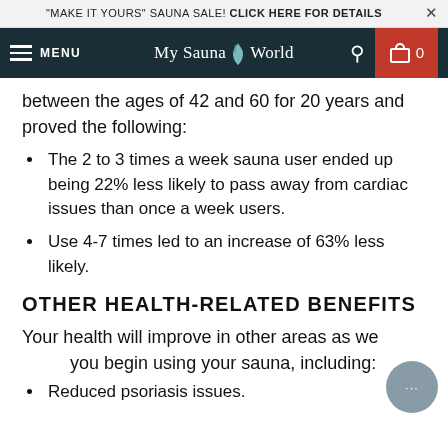"MAKE IT YOURS" SAUNA SALE! CLICK HERE FOR DETAILS
MENU | My Sauna World | 0
between the ages of 42 and 60 for 20 years and proved the following:
The 2 to 3 times a week sauna user ended up being 22% less likely to pass away from cardiac issues than once a week users.
Use 4-7 times led to an increase of 63% less likely.
OTHER HEALTH-RELATED BENEFITS
Your health will improve in other areas as well when you begin using your sauna, including:
Reduced psoriasis issues.